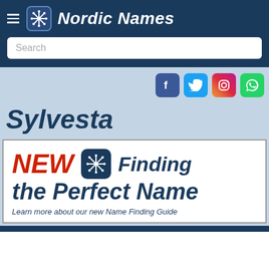Nordic Names
[Figure (screenshot): Search input box with placeholder text 'Search']
[Figure (infographic): Social media icons: Facebook, Twitter, Instagram, WhatsApp]
Sylvesta
[Figure (infographic): Advertisement banner: NEW - Finding the Perfect Name. Learn more about our new Name Finding Guide]